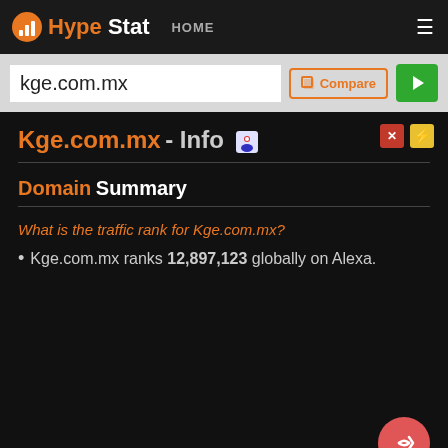HypeStat HOME
kge.com.mx
Kge.com.mx - Info
Domain Summary
What is the traffic rank for Kge.com.mx?
Kge.com.mx ranks 12,897,123 globally on Alexa.